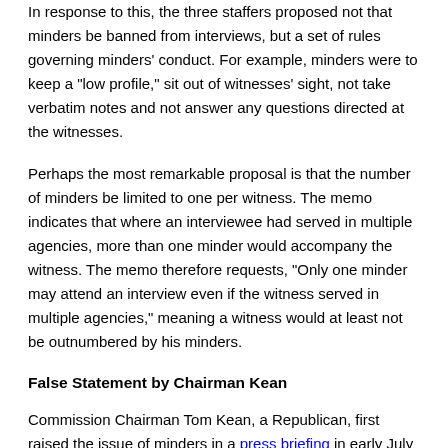In response to this, the three staffers proposed not that minders be banned from interviews, but a set of rules governing minders' conduct. For example, minders were to keep a "low profile," sit out of witnesses' sight, not take verbatim notes and not answer any questions directed at the witnesses.
Perhaps the most remarkable proposal is that the number of minders be limited to one per witness. The memo indicates that where an interviewee had served in multiple agencies, more than one minder would accompany the witness. The memo therefore requests, "Only one minder may attend an interview even if the witness served in multiple agencies," meaning a witness would at least not be outnumbered by his minders.
False Statement by Chairman Kean
Commission Chairman Tom Kean, a Republican, first raised the issue of minders in a press briefing in early July 2003 . He said, "I think the commission feels unanimously that it's some intimidation to have...